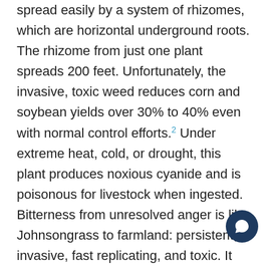spread easily by a system of rhizomes, which are horizontal underground roots. The rhizome from just one plant spreads 200 feet. Unfortunately, the invasive, toxic weed reduces corn and soybean yields over 30% to 40% even with normal control efforts.² Under extreme heat, cold, or drought, this plant produces noxious cyanide and is poisonous for livestock when ingested. Bitterness from unresolved anger is like Johnsongrass to farmland: persistent, invasive, fast replicating, and toxic. It will eventually usurp and reduce our capacity to live fruitful, bountiful lives.
The serious gardener does not cut off the